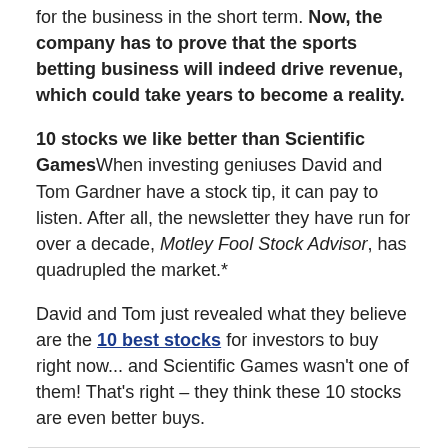for the business in the short term. Now, the company has to prove that the sports betting business will indeed drive revenue, which could take years to become a reality.
10 stocks we like better than Scientific GamesWhen investing geniuses David and Tom Gardner have a stock tip, it can pay to listen. After all, the newsletter they have run for over a decade, Motley Fool Stock Advisor, has quadrupled the market.*
David and Tom just revealed what they believe are the 10 best stocks for investors to buy right now... and Scientific Games wasn't one of them! That's right – they think these 10 stocks are even better buys.
[Figure (other): Gray advertisement box placeholder]